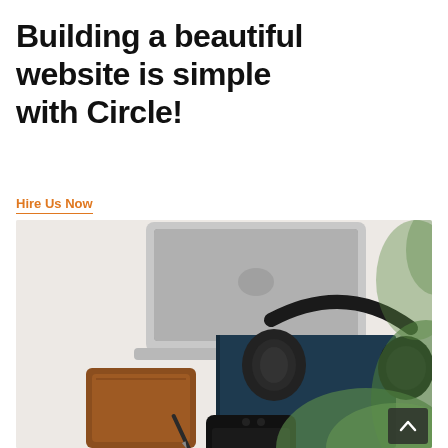Building a beautiful website is simple with Circle!
Hire Us Now
[Figure (photo): Flat-lay of a white desk with a laptop, dark blue notebook with black over-ear headphones on top, a brown leather wallet, a pencil, a black smartphone, and blurred green plant leaves in the foreground and background right.]